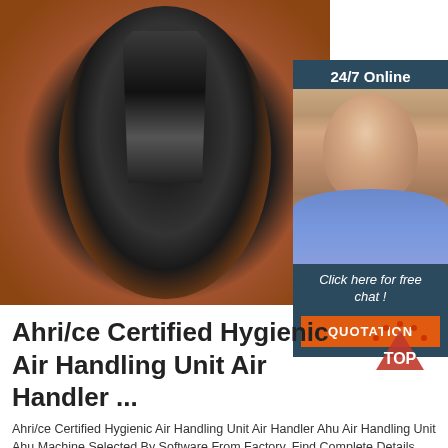[Figure (photo): Close-up photo of a mechanical component (likely an air handling unit internal part) viewed through a circular opening. The center shows dark metallic machinery components against a rust/orange-brown circular frame, viewed from below or inside.]
[Figure (photo): 24/7 Online customer service widget showing a smiling woman with a headset, dark blue background, with 'Click here for free chat!' text and an orange QUOTATION button.]
Ahri/ce Certified Hygienic Air Handling Unit Air Handler ...
Ahri/ce Certified Hygienic Air Handling Unit Air Handler Ahu Air Handling Unit Ahu Machine Selected By Software From Factory, Find Complete Details about Ahri/ce